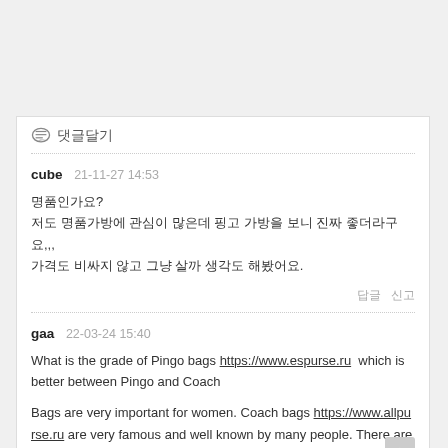💬 댓글달기
cube   21-11-27 14:53
명품인가요?
저도 명품가방에 관심이 많은데 핑고 가방을 보니 진짜 좋더라구요,,, 가격도 비싸지 않고 그냥 살까 생각도 해봤어요.
gaa   22-03-24 15:40
What is the grade of Pingo bags https://www.espurse.ru  which is better between Pingo and Coach
Bags are very important for women. Coach bags https://www.allpurse.ru are very famous and well known by many people. There are also some brands that are not so well known, such as Pingo, but